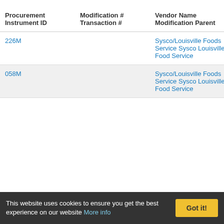| Procurement Instrument ID | Modification # Transaction # | Vendor Name Modification Parent | Major Agency Category Modification Agency Major Funding Agency | Product Service |
| --- | --- | --- | --- | --- |
| 226M |  | Sysco/Louisville Foods Service Sysco Louisville Food Service | Of Defense Defense Logistics Agency Department Of Defense | 8905: M Poultry, Fish |
| 058M |  | Sysco/Louisville Foods Service Sysco Louisville Food Service | Department Of Defense Defense Logistics Agency | 8910: D Foods A Eggs |
This website uses cookies to ensure you get the best experience on our website More info Got it!